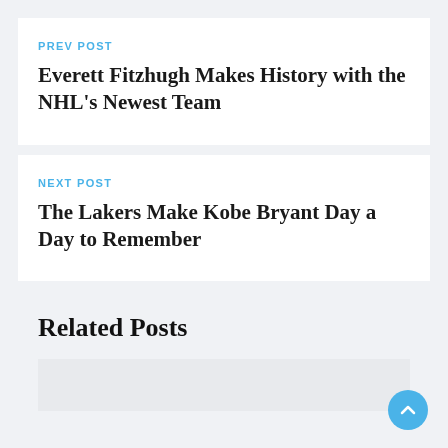PREV POST
Everett Fitzhugh Makes History with the NHL's Newest Team
NEXT POST
The Lakers Make Kobe Bryant Day a Day to Remember
Related Posts